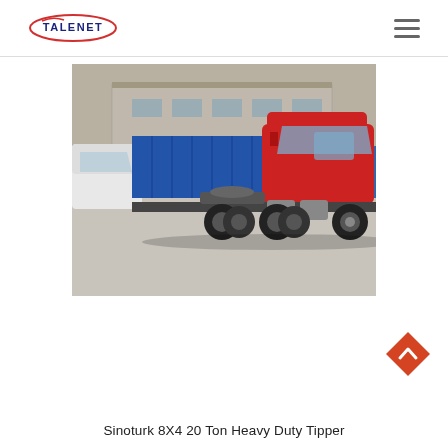TALENET
[Figure (photo): Side view of a red Sinotruk heavy duty tipper truck parked in a yard with other vehicles and industrial buildings in the background.]
Sinoturk 8X4 20 Ton Heavy Duty Tipper